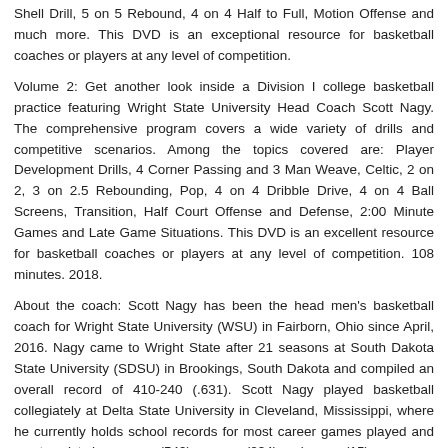Shell Drill, 5 on 5 Rebound, 4 on 4 Half to Full, Motion Offense and much more. This DVD is an exceptional resource for basketball coaches or players at any level of competition.
Volume 2: Get another look inside a Division I college basketball practice featuring Wright State University Head Coach Scott Nagy. The comprehensive program covers a wide variety of drills and competitive scenarios. Among the topics covered are: Player Development Drills, 4 Corner Passing and 3 Man Weave, Celtic, 2 on 2, 3 on 2.5 Rebounding, Pop, 4 on 4 Dribble Drive, 4 on 4 Ball Screens, Transition, Half Court Offense and Defense, 2:00 Minute Games and Late Game Situations. This DVD is an excellent resource for basketball coaches or players at any level of competition. 108 minutes. 2018.
About the coach: Scott Nagy has been the head men's basketball coach for Wright State University (WSU) in Fairborn, Ohio since April, 2016. Nagy came to Wright State after 21 seasons at South Dakota State University (SDSU) in Brookings, South Dakota and compiled an overall record of 410-240 (.631). Scott Nagy played basketball collegiately at Delta State University in Cleveland, Mississippi, where he currently holds school records for most career games played and most assists in a career (549), season (234) and game (15).